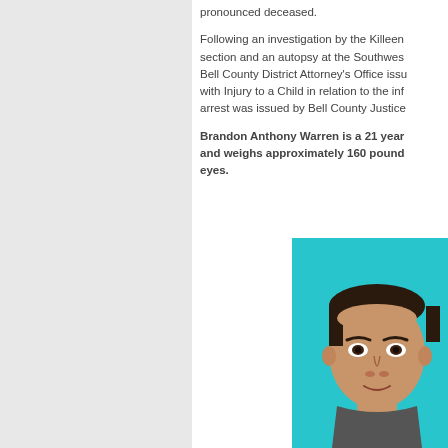pronounced deceased.
Following an investigation by the Killeen section and an autopsy at the Southwest Bell County District Attorney's Office issued with Injury to a Child in relation to the infant arrest was issued by Bell County Justice
Brandon Anthony Warren is a 21 year and weighs approximately 160 pounds eyes.
[Figure (photo): Headshot photo of Brandon Anthony Warren against a cyan/turquoise background. Male subject with dark hair and brown eyes, cropped at the bottom of the frame.]